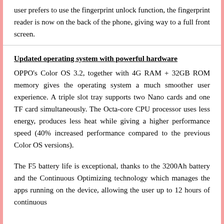user prefers to use the fingerprint unlock function, the fingerprint reader is now on the back of the phone, giving way to a full front screen.
Updated operating system with powerful hardware
OPPO's Color OS 3.2, together with 4G RAM + 32GB ROM memory gives the operating system a much smoother user experience. A triple slot tray supports two Nano cards and one TF card simultaneously. The Octa-core CPU processor uses less energy, produces less heat while giving a higher performance speed (40% increased performance compared to the previous Color OS versions).
The F5 battery life is exceptional, thanks to the 3200Ah battery and the Continuous Optimizing technology which manages the apps running on the device, allowing the user up to 12 hours of continuous